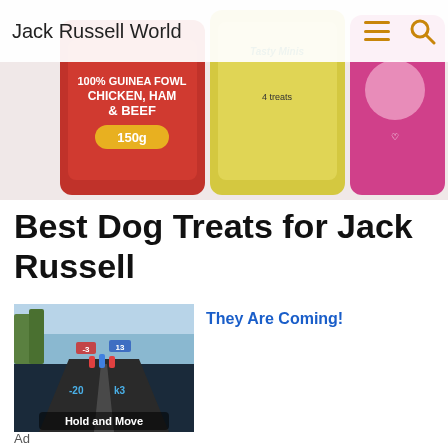Jack Russell World
[Figure (photo): Hero banner showing three dog treat product packages – a red Chicken Ham & Beef 150g packet, a yellow Tasty Minis packet, and a pink floral packet]
Best Dog Treats for Jack Russell
November 8, 2021   Amy Trumpeter
Sometimes it can seem difficult to satisfy our beloved canine companions. As owners, we want to provide healthy treats that taste great
[Figure (screenshot): Ad image showing a mobile game screenshot with figures on a dark road and text 'Hold and Move']
They Are Coming!
Ad